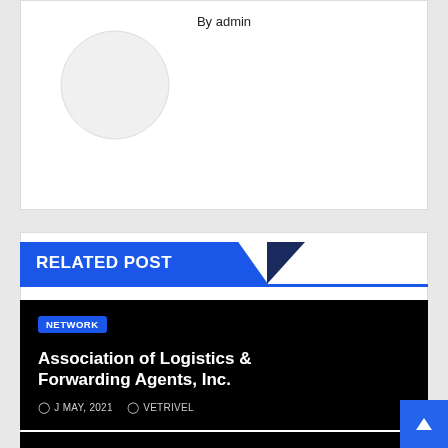By admin
[Figure (illustration): Circular avatar placeholder, white/light grey circle]
RELATED POST
Association of Logistics & Forwarding Agents, Inc.
J MAY, 2021   VETRIVEL